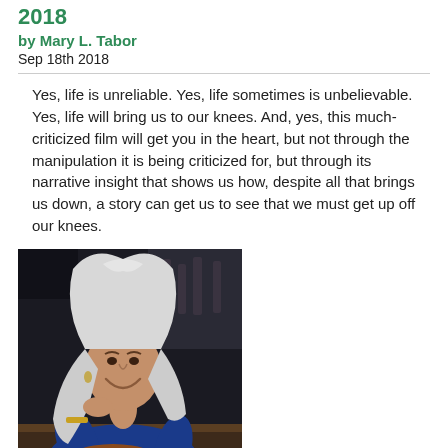2018
by Mary L. Tabor
Sep 18th 2018
Yes, life is unreliable. Yes, life sometimes is unbelievable. Yes, life will bring us to our knees. And, yes, this much-criticized film will get you in the heart, but not through the manipulation it is being criticized for, but through its narrative insight that shows us how, despite all that brings us down, a story can get us to see that we must get up off our knees.
[Figure (photo): Photo of Mary L. Tabor, a woman with long white/silver hair, wearing a blue turtleneck sweater, smiling, seated at what appears to be a bar or restaurant setting with dark background.]